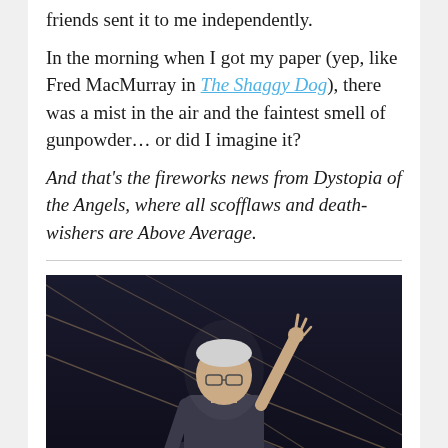friends sent it to me independently.
In the morning when I got my paper (yep, like Fred MacMurray in The Shaggy Dog), there was a mist in the air and the faintest smell of gunpowder… or did I imagine it?
And that's the fireworks news from Dystopia of the Angels, where all scofflaws and death-wishers are Above Average.
[Figure (photo): An elderly man with glasses, raising one hand upward against a dark background with diagonal lines or cables.]